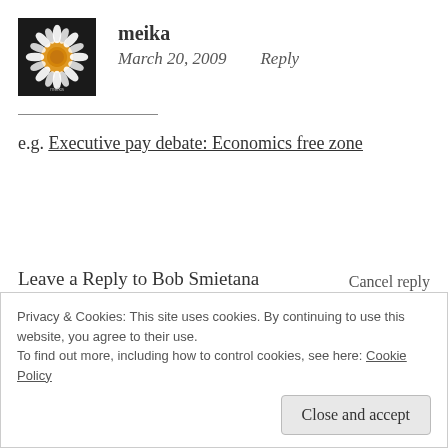[Figure (photo): Avatar photo of a white daisy flower with orange center on dark background]
meika
March 20, 2009   Reply
e.g. Executive pay debate: Economics free zone
Leave a Reply to Bob Smietana
Cancel reply
Your email address will not be published. Required fields are marked *
Privacy & Cookies: This site uses cookies. By continuing to use this website, you agree to their use.
To find out more, including how to control cookies, see here: Cookie Policy
Close and accept